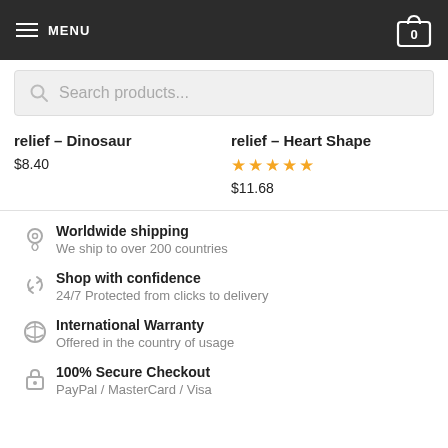MENU  0
Search products...
relief – Dinosaur
$8.40
relief – Heart Shape
★★★★★
$11.68
Worldwide shipping
We ship to over 200 countries
Shop with confidence
24/7 Protected from clicks to delivery
International Warranty
Offered in the country of usage
100% Secure Checkout
PayPal / MasterCard / Visa